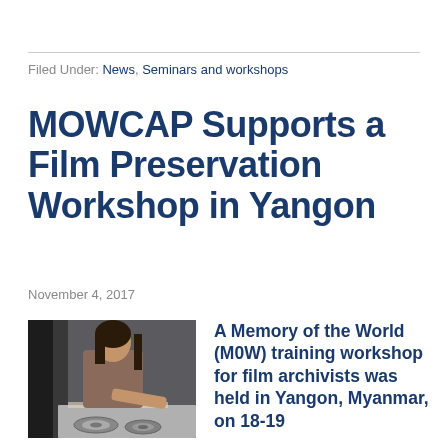Filed Under: News, Seminars and workshops
MOWCAP Supports a Film Preservation Workshop in Yangon
November 4, 2017
[Figure (photo): A person examining film reels on a light table in a darkened room]
A Memory of the World (M0W) training workshop for film archivists was held in Yangon, Myanmar, on 18-19